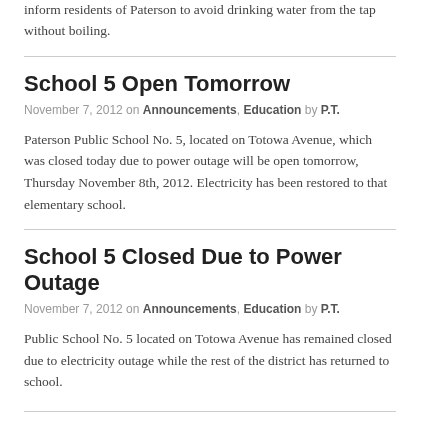inform residents of Paterson to avoid drinking water from the tap without boiling.
School 5 Open Tomorrow
November 7, 2012 on Announcements, Education by P.T.
Paterson Public School No. 5, located on Totowa Avenue, which was closed today due to power outage will be open tomorrow, Thursday November 8th, 2012. Electricity has been restored to that elementary school.
School 5 Closed Due to Power Outage
November 7, 2012 on Announcements, Education by P.T.
Public School No. 5 located on Totowa Avenue has remained closed due to electricity outage while the rest of the district has returned to school.